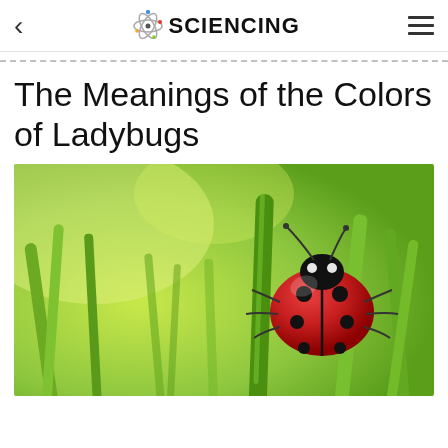SCIENCING
The Meanings of the Colors of Ladybugs
[Figure (photo): A red ladybug with black spots climbing on a green grass blade, with a soft green blurred background]